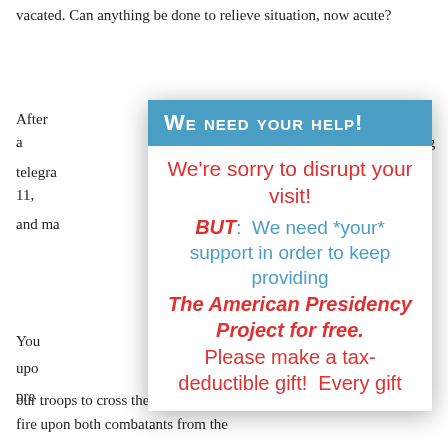vacated. Can anything be done to relieve situation, now acute?
After a ... wing telegram ... 9 11, and ma...
[Figure (other): Modal popup overlay with blue header 'WE NEED YOUR HELP!' and white body containing donation appeal text for The American Presidency Project]
our troops to cross the border and attempt to stop the fighting, or to fire upon both combatants from the